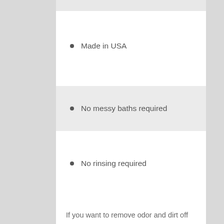Made in USA
No messy baths required
No rinsing required
Derived from coconut
No chemicals or sulfates
If you want to remove odor and dirt off